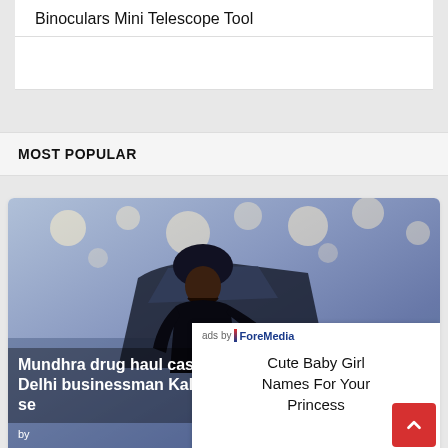Binoculars Mini Telescope Tool
MOST POPULAR
[Figure (photo): News article image showing a man in a black turban and dark clothes standing by a car with bokeh lights in the background. Headline overlay reads: Mundhra drug haul case: NIA arrests Delhi businessman Kabir Talwar, se... with byline starting with 'by']
[Figure (screenshot): Ad overlay from ForeMedia showing text: Cute Baby Girl Names For Your Princess]
[Figure (photo): Small thumbnail at bottom left showing green leafy material]